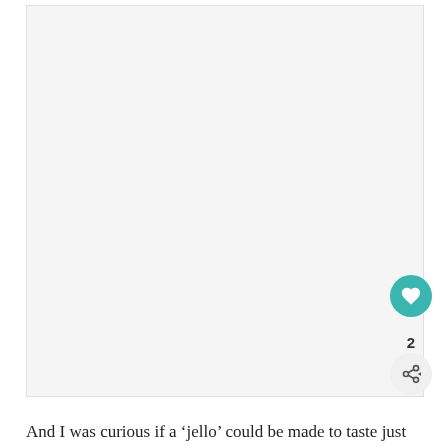[Figure (photo): Large white/light gray rectangular image placeholder area with a light gray background]
And I was curious if a 'jello' could be made to taste just